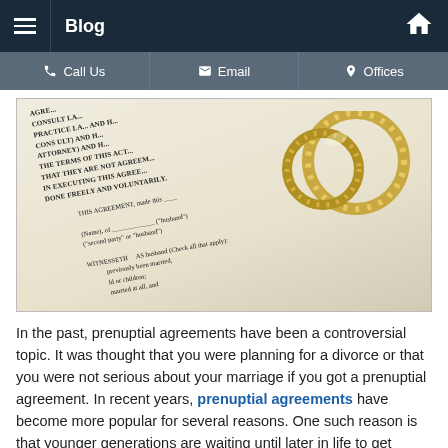Blog
[Figure (photo): Close-up photograph of a prenuptial agreement document with two gold wedding rings resting on top of the text.]
In the past, prenuptial agreements have been a controversial topic. It was thought that you were planning for a divorce or that you were not serious about your marriage if you got a prenuptial agreement. In recent years, prenuptial agreements have become more popular for several reasons. One such reason is that younger generations are waiting until later in life to get married. This typically means they have more assets when they are going into their marriages.